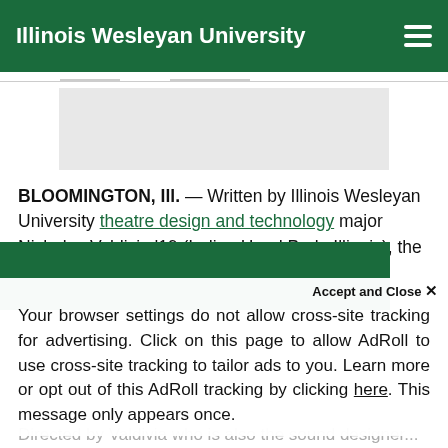Illinois Wesleyan University
[Figure (other): Gray advertisement placeholder rectangle]
BLOOMINGTON, Ill. — Written by Illinois Wesleyan University theatre design and technology major Nicholas Valdivia '19 (Indian Head Park, Illinois), the
We use cookies to improve your experience on our website. By continuing to use our site...
Accept and Close ✕
Your browser settings do not allow cross-site tracking for advertising. Click on this page to allow AdRoll to use cross-site tracking to tailor ads to you. Learn more or opt out of this AdRoll tracking by clicking here. This message only appears once.
Directed by Valdivia who is also the sound designer...